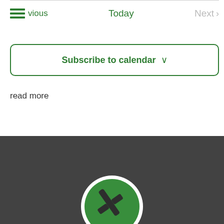← Previous
Today
Next →
Subscribe to calendar ∨
read more
[Figure (logo): Green circular logo with a dark arrow/tool icon on a dark grey background footer]